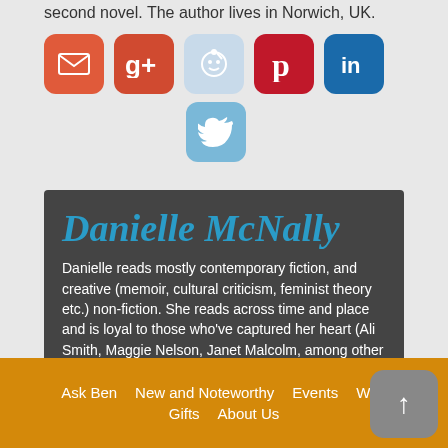second novel. The author lives in Norwich, UK.
[Figure (infographic): Social sharing icons: email (red-orange), Google+ (dark red), Reddit (light blue), Pinterest (dark red), LinkedIn (blue), Twitter (light blue)]
Danielle McNally
Danielle reads mostly contemporary fiction, and creative (memoir, cultural criticism, feminist theory etc.) non-fiction. She reads across time and place and is loyal to those who've captured her heart (Ali Smith, Maggie Nelson, Janet Malcolm, among other brilliant minds). She should probably read more books by men, but she's not losing sleep over it.
Ask Ben   New and Noteworthy   Events   Web   Gifts   About Us